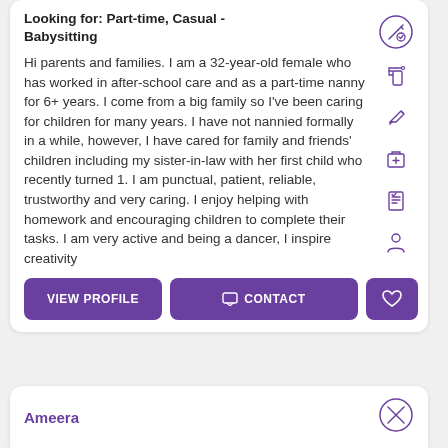Looking for: Part-time, Casual - Babysitting
Hi parents and families. I am a 32-year-old female who has worked in after-school care and as a part-time nanny for 6+ years. I come from a big family so I've been caring for children for many years. I have not nannied formally in a while, however, I have cared for family and friends' children including my sister-in-law with her first child who recently turned 1. I am punctual, patient, reliable, trustworthy and very caring. I enjoy helping with homework and encouraging children to complete their tasks. I am very active and being a dancer, I inspire creativity
VIEW PROFILE
CONTACT
Ameera